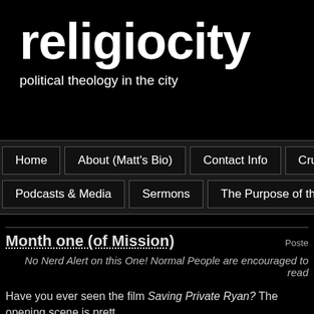religiocity
political theology in the city
Home
About (Matt's Bio)
Contact Info
Crucial Voo
Podcasts & Media
Sermons
The Purpose of the Liturgy
Month one (of Mission)
Posted
No Nerd Alert on this One! Normal People are encouraged to read
Have you ever seen the film Saving Private Ryan? The opening scene is prett (even if quite violent). For several minutes, what the viewer sees is a non-stop